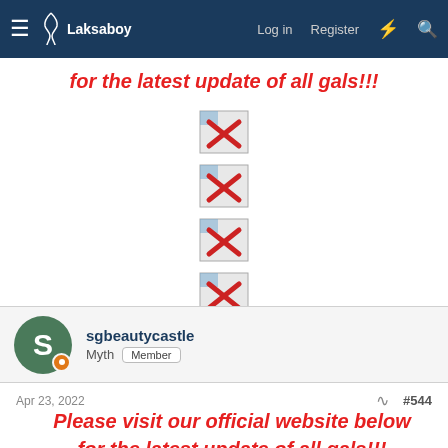Laksaboy | Log in | Register
for the latest update of all gals!!!
[Figure (other): Broken image icon (missing image placeholder with red X) - appears 4 times]
sgbeautycastle
Myth Member
Apr 23, 2022  #544
Please visit our official website below for the latest update of all gals!!!